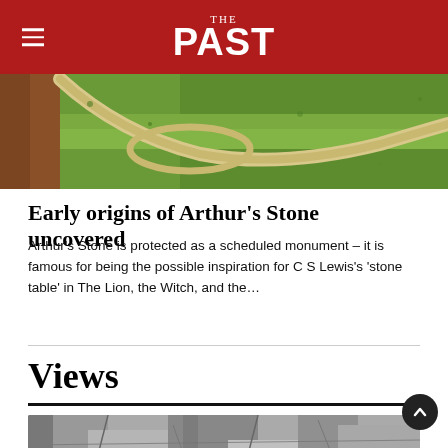THE PAST
[Figure (photo): Aerial view of Arthur's Stone monument site – green grass with a circular path and a brownish-red earthen area visible from above]
Early origins of Arthur's Stone uncovered
Arthur's Stone is protected as a scheduled monument – it is famous for being the possible inspiration for C S Lewis's 'stone table' in The Lion, the Witch, and the…
Views
[Figure (photo): Black and white photograph of a rocky, textured stone surface]